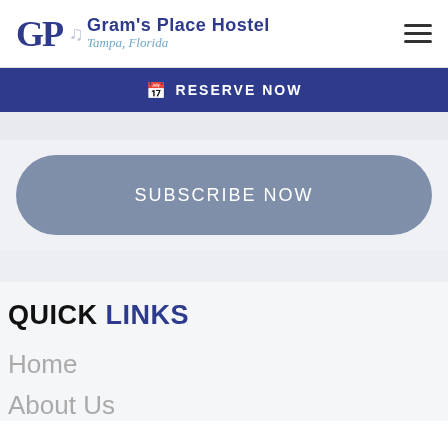Gram's Place Hostel – Tampa, Florida
RESERVE NOW
[Figure (screenshot): Subscribe Now button with rounded gray pill shape on a light gray background]
QUICK LINKS
Home
About Us